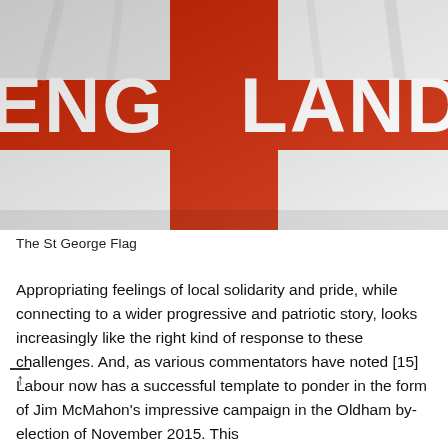[Figure (photo): Close-up photo of an England St George Cross flag with the word ENGLAND written in white letters across the red cross, with white fabric sections visible.]
The St George Flag
Appropriating feelings of local solidarity and pride, while connecting to a wider progressive and patriotic story, looks increasingly like the right kind of response to these challenges. And, as various commentators have noted [15] Labour now has a successful template to ponder in the form of Jim McMahon's impressive campaign in the Oldham by-election of November 2015. This